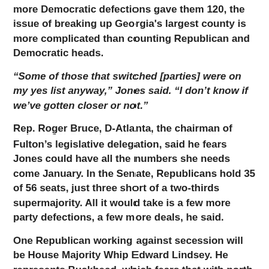more Democratic defections gave them 120, the issue of breaking up Georgia's largest county is more complicated than counting Republican and Democratic heads.
“Some of those that switched [parties] were on my yes list anyway,” Jones said. “I don’t know if we’ve gotten closer or not.”
Rep. Roger Bruce, D-Atlanta, the chairman of Fulton’s legislative delegation, said he fears Jones could have all the numbers she needs come January. In the Senate, Republicans hold 35 of 56 seats, just three short of a two-thirds supermajority. All it would take is a few more party defections, a few more deals, he said.
One Republican working against secession will be House Majority Whip Edward Lindsey. He represents Buckhead, which fears that with north Fulton out of the picture, the upscale Atlanta district would be left hanging as a tax cash cow.